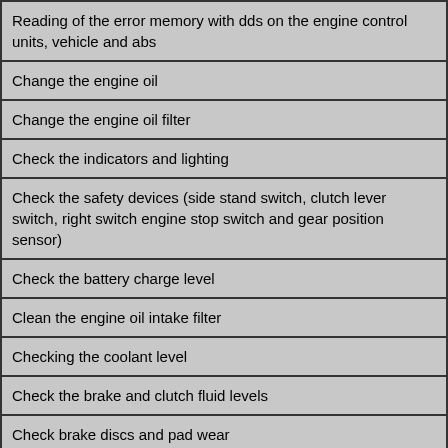Reading of the error memory with dds on the engine control units, vehicle and abs
Change the engine oil
Change the engine oil filter
Check the indicators and lighting
Check the safety devices (side stand switch, clutch lever switch, right switch engine stop switch and gear position sensor)
Check the battery charge level
Clean the engine oil intake filter
Checking the coolant level
Check the brake and clutch fluid levels
Check brake discs and pad wear